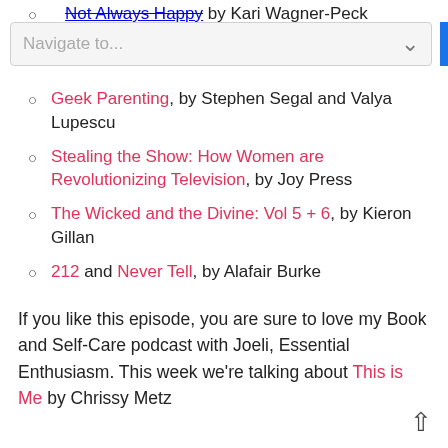Not Always Happy, by Kari Wagner-Peck
[Figure (screenshot): Navigate to... dropdown selector widget]
Geek Parenting, by Stephen Segal and Valya Lupescu
Stealing the Show: How Women are Revolutionizing Television, by Joy Press
The Wicked and the Divine: Vol 5 + 6, by Kieron Gillan
212 and Never Tell, by Alafair Burke
That Kind of Mother, by Rumaan Alam
An American Marriage, by Tayari Jones
Space Opera, by Catherynne Valente
If you like this episode, you are sure to love my Book and Self-Care podcast with Joeli, Essential Enthusiasm. This week we're talking about This is Me by Chrissy Metz